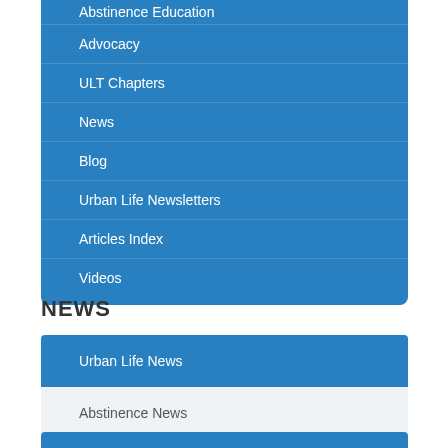Abstinence Education
Advocacy
ULT Chapters
News
Blog
Urban Life Newsletters
Articles Index
Videos
NEWS
Urban Life News
Abstinence News